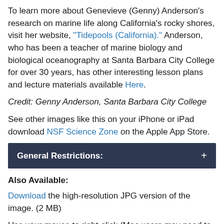To learn more about Genevieve (Genny) Anderson's research on marine life along California's rocky shores, visit her website, "Tidepools (California)." Anderson, who has been a teacher of marine biology and biological oceanography at Santa Barbara City College for over 30 years, has other interesting lesson plans and lecture materials available Here.
Credit: Genny Anderson, Santa Barbara City College
See other images like this on your iPhone or iPad download NSF Science Zone on the Apple App Store.
General Restrictions: +
Also Available: Download the high-resolution JPG version of the image. (2 MB)
Use your mouse to right-click (Mac users may need to Ctrl-click) the link above and choose the option